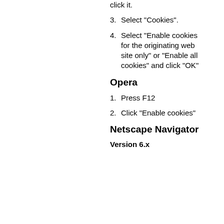click it.
3. Select "Cookies".
4. Select "Enable cookies for the originating web site only" or "Enable all cookies" and click "OK"
Opera
1. Press F12
2. Click "Enable cookies"
Netscape Navigator
Version 6.x